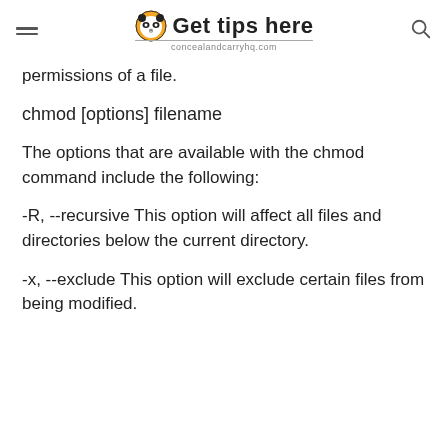Get tips here — concealandcarryhq.com
permissions of a file.
chmod [options] filename
The options that are available with the chmod command include the following:
-R, --recursive This option will affect all files and directories below the current directory.
-x, --exclude This option will exclude certain files from being modified.